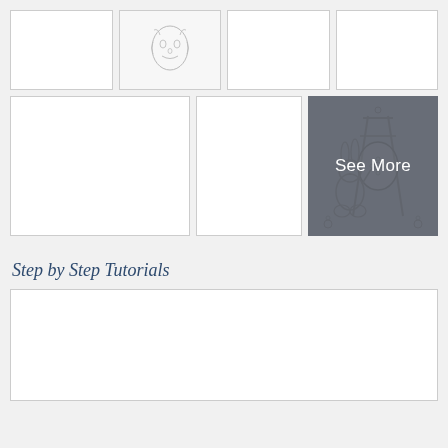[Figure (photo): Row of four thumbnail image boxes at top; second box contains a faint sketch/line drawing of a face]
[Figure (photo): Row of three image boxes in middle row, third box is 'See More' overlay with bunny painting an egg on a canvas]
Step by Step Tutorials
[Figure (photo): Large empty white rectangular thumbnail for tutorials section]